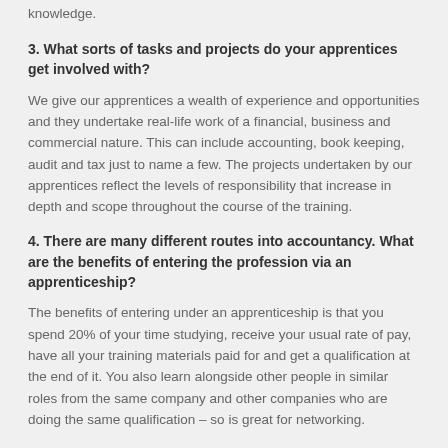knowledge.
3. What sorts of tasks and projects do your apprentices get involved with?
We give our apprentices a wealth of experience and opportunities and they undertake real-life work of a financial, business and commercial nature. This can include accounting, book keeping, audit and tax just to name a few. The projects undertaken by our apprentices reflect the levels of responsibility that increase in depth and scope throughout the course of the training.
4. There are many different routes into accountancy. What are the benefits of entering the profession via an apprenticeship?
The benefits of entering under an apprenticeship is that you spend 20% of your time studying, receive your usual rate of pay, have all your training materials paid for and get a qualification at the end of it. You also learn alongside other people in similar roles from the same company and other companies who are doing the same qualification – so is great for networking.